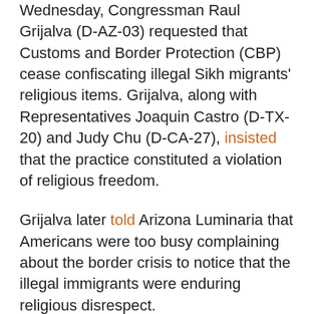Wednesday, Congressman Raul Grijalva (D-AZ-03) requested that Customs and Border Protection (CBP) cease confiscating illegal Sikh migrants' religious items. Grijalva, along with Representatives Joaquin Castro (D-TX-20) and Judy Chu (D-CA-27), insisted that the practice constituted a violation of religious freedom.
Grijalva later told Arizona Luminaria that Americans were too busy complaining about the border crisis to notice that the illegal immigrants were enduring religious disrespect.
“All these festering issues get overwritten because everybody starts screaming about the border and the invasion, and so these go into the background,” said Grijalva. “I don’t think they’re background issues. Border Patrol is the largest law enforcement agency with the least amount of accountability in the